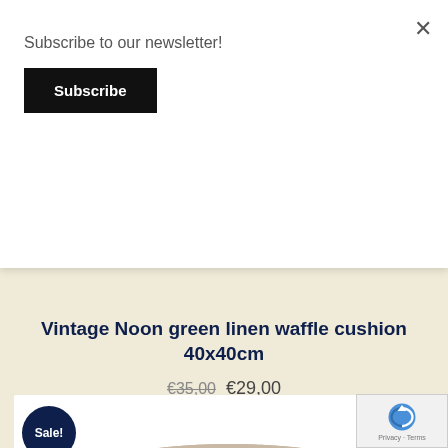Subscribe to our newsletter!
Subscribe
Vintage Noon green linen waffle cushion 40x40cm
€35,00 €29,00
[Figure (photo): Product image card with Sale! badge and cushion photo]
[Figure (logo): reCAPTCHA badge with Privacy and Terms links]